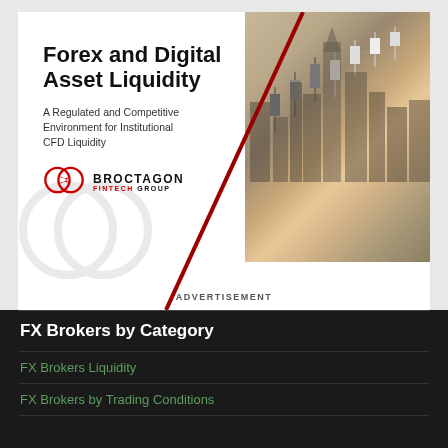[Figure (illustration): Broctagon Fintech Group advertisement for Forex and Digital Asset Liquidity. Features a diagonal red line splitting the image, with candlestick chart graphics and city skyline on the right side, and text/logo on the left side.]
ADVERTISEMENT
FX Brokers by Category
FX Brokers Liquidity
FX Brokers by Trading Conditions